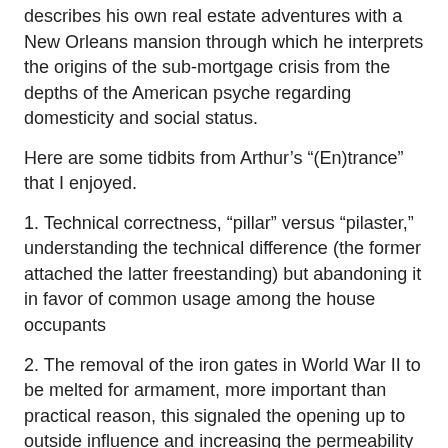describes his own real estate adventures with a New Orleans mansion through which he interprets the origins of the sub-mortgage crisis from the depths of the American psyche regarding domesticity and social status.
Here are some tidbits from Arthur’s “(En)trance” that I enjoyed.
1. Technical correctness, “pillar” versus “pilaster,” understanding the technical difference (the former attached the latter freestanding) but abandoning it in favor of common usage among the house occupants
2. The removal of the iron gates in World War II to be melted for armament, more important than practical reason, this signaled the opening up to outside influence and increasing the permeability between of boundaries set by A. family, B. nation, and C. faith.
3. The pillars attached to a curved wall, giant cupped hands placed at the roadside.